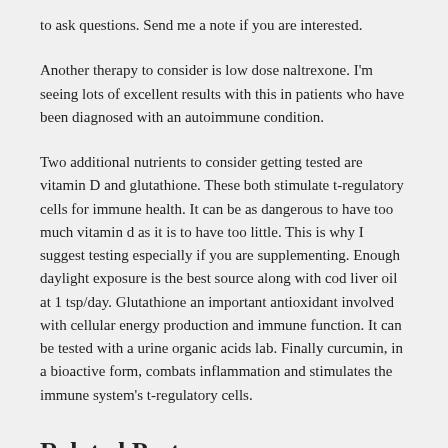to ask questions.  Send me a note if you are interested.
Another therapy to consider is low dose naltrexone. I'm seeing lots of excellent results with this in patients who have been diagnosed with an autoimmune condition.
Two additional nutrients to consider getting tested are vitamin D and glutathione.  These both stimulate t-regulatory cells for immune health.  It can be as dangerous to have too much vitamin d as it is to have too little. This is why I suggest testing especially if you are supplementing.  Enough daylight exposure is the best source along with cod liver oil at 1 tsp/day.  Glutathione an important antioxidant  involved with cellular energy production and immune function. It can be tested with a urine organic acids lab. Finally curcumin, in a bioactive form, combats inflammation and stimulates the immune system's t-regulatory cells.
Related Posts